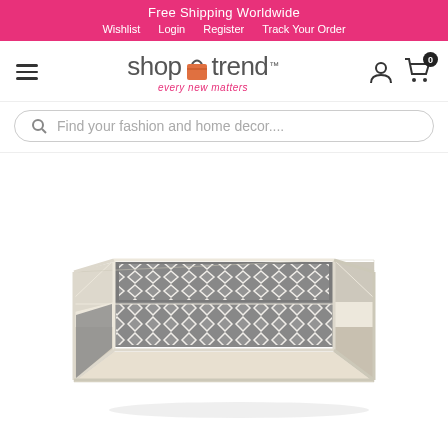Free Shipping Worldwide
Wishlist  Login  Register  Track Your Order
[Figure (logo): shopAtrend logo with orange bag icon and tagline 'every new matters']
Find your fashion and home decor....
[Figure (photo): Decorative rectangular tray with grey and white mosaic bone inlay geometric diamond pattern and cream/white border frame, photographed at an angle on white background]